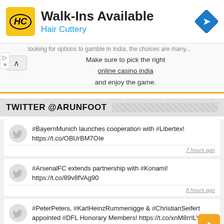[Figure (infographic): Advertisement banner for Hair Cuttery with yellow HC logo, 'Walk-Ins Available' text, 'Hair Cuttery' subtitle in blue, and a blue navigation diamond icon on the right.]
looking for options to gamble in India, the choices are many. Make sure to pick the right online casino india and enjoy the game.
TWITTER @ARUNFOOT
#BayernMunich launches cooperation with #Libertex! https://t.co/OBUrBM7OIe
7 hours ago
#ArsenalFC extends partnership with #Konami! https://t.co/89v8fVAg90
8 hours ago
#PeterPeters, #KarlHeinzRummenigge & #ChristianSeifert appointed #DFL Honorary Members! https://t.co/xnM8rrILY7
8 hours ago